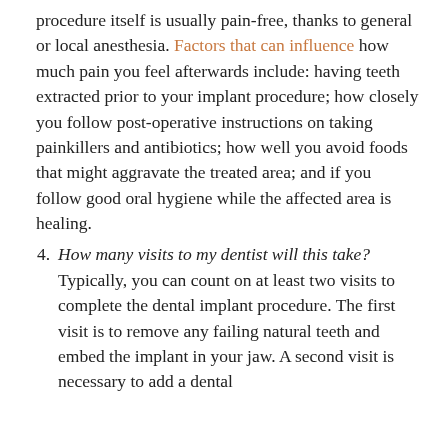procedure itself is usually pain-free, thanks to general or local anesthesia. Factors that can influence how much pain you feel afterwards include: having teeth extracted prior to your implant procedure; how closely you follow post-operative instructions on taking painkillers and antibiotics; how well you avoid foods that might aggravate the treated area; and if you follow good oral hygiene while the affected area is healing.
4. How many visits to my dentist will this take? Typically, you can count on at least two visits to complete the dental implant procedure. The first visit is to remove any failing natural teeth and embed the implant in your jaw. A second visit is necessary to add a dental